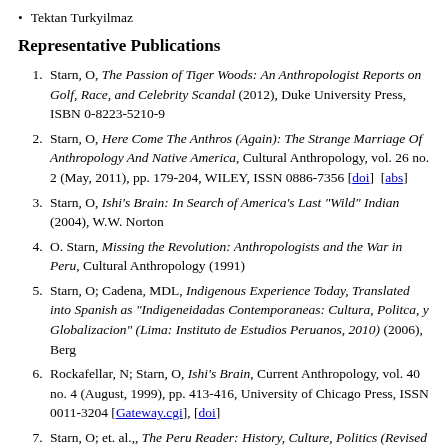Tektan Turkyilmaz
Representative Publications
1. Starn, O, The Passion of Tiger Woods: An Anthropologist Reports on Golf, Race, and Celebrity Scandal (2012), Duke University Press, ISBN 0-8223-5210-9
2. Starn, O, Here Come The Anthros (Again): The Strange Marriage Of Anthropology And Native America, Cultural Anthropology, vol. 26 no. 2 (May, 2011), pp. 179-204, WILEY, ISSN 0886-7356 [doi] [abs]
3. Starn, O, Ishi's Brain: In Search of America's Last "Wild" Indian (2004), W.W. Norton
4. O. Starn, Missing the Revolution: Anthropologists and the War in Peru, Cultural Anthropology (1991)
5. Starn, O; Cadena, MDL, Indigenous Experience Today, Translated into Spanish as "Indigeneidadas Contemporaneas: Cultura, Politca, y Globalizacion" (Lima: Instituto de Estudios Peruanos, 2010) (2006), Berg
6. Rockafellar, N; Starn, O, Ishi's Brain, Current Anthropology, vol. 40 no. 4 (August, 1999), pp. 413-416, University of Chicago Press, ISSN 0011-3204 [Gateway.cgi], [doi]
7. Starn, O; et. al.,, The Peru Reader: History, Culture, Politics (Revised and Expanded Editon) (2005), Duke University Press
8. Starn, O, To Revolt against the Revolution: War and